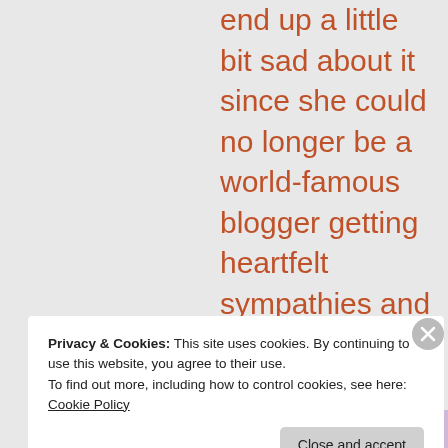end up a little bit sad about it since she could no longer be a world-famous blogger getting heartfelt sympathies and would be back to being an ordinary
Privacy & Cookies: This site uses cookies. By continuing to use this website, you agree to their use.
To find out more, including how to control cookies, see here:
Cookie Policy
Close and accept